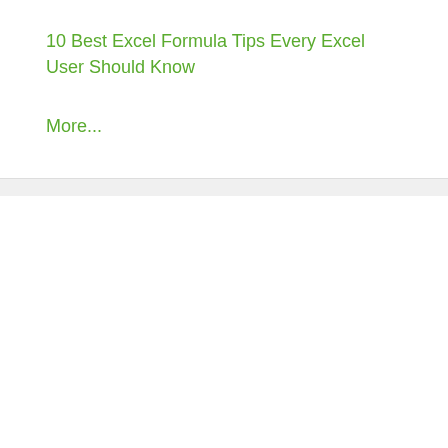10 Best Excel Formula Tips Every Excel User Should Know
More...